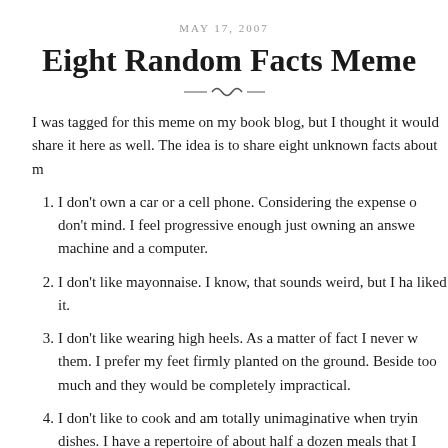MAY 17, 2007
Eight Random Facts Meme
I was tagged for this meme on my book blog, but I thought it would share it here as well.  The idea is to share eight unknown facts about m
I don't own a car or a cell phone. Considering the expense o don't mind.  I feel progressive enough just owning an answe machine and a computer.
I don't like mayonnaise.  I know, that sounds weird, but I ha liked it.
I don't like wearing high heels.  As a matter of fact I never w them.  I prefer my feet firmly planted on the ground.  Beside too much and they would be completely impractical.
I don't like to cook and am totally unimaginative when tryin dishes.  I have a repertoire of about half a dozen meals that I comfortable making.  I don't mind baking, though.